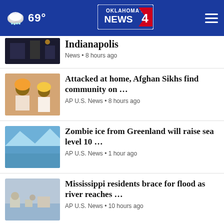69° Oklahoma's News 4
Indianapolis — News • 8 hours ago
Attacked at home, Afghan Sikhs find community on ... — AP U.S. News • 8 hours ago
Zombie ice from Greenland will raise sea level 10 ... — AP U.S. News • 1 hour ago
Mississippi residents brace for flood as river reaches ... — AP U.S. News • 10 hours ago
View All National ▶
[Figure (screenshot): Full Service Marketing advertisement with High Five Media badge]
WASHINGTON D.C. ▶